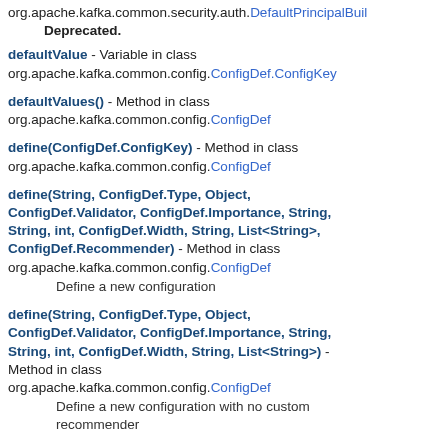org.apache.kafka.common.security.auth.DefaultPrincipalBuil…
    Deprecated.
defaultValue - Variable in class org.apache.kafka.common.config.ConfigDef.ConfigKey
defaultValues() - Method in class org.apache.kafka.common.config.ConfigDef
define(ConfigDef.ConfigKey) - Method in class org.apache.kafka.common.config.ConfigDef
define(String, ConfigDef.Type, Object, ConfigDef.Validator, ConfigDef.Importance, String, String, int, ConfigDef.Width, String, List<String>, ConfigDef.Recommender) - Method in class org.apache.kafka.common.config.ConfigDef
    Define a new configuration
define(String, ConfigDef.Type, Object, ConfigDef.Validator, ConfigDef.Importance, String, String, int, ConfigDef.Width, String, List<String>) - Method in class org.apache.kafka.common.config.ConfigDef
    Define a new configuration with no custom recommender
define(String, ConfigDef.Type, Object, ConfigDef.Validator, ConfigDef.Importance, String,